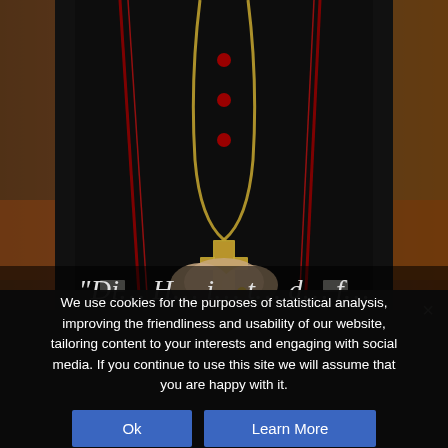[Figure (photo): A person wearing black clerical vestments with red trim and a gold cross pendant, hands clasped together at waist level. Background shows blurred warm sunset tones on the sides.]
“Di... H... i... t... d... f...
We use cookies for the purposes of statistical analysis, improving the friendliness and usability of our website, tailoring content to your interests and engaging with social media. If you continue to use this site we will assume that you are happy with it.